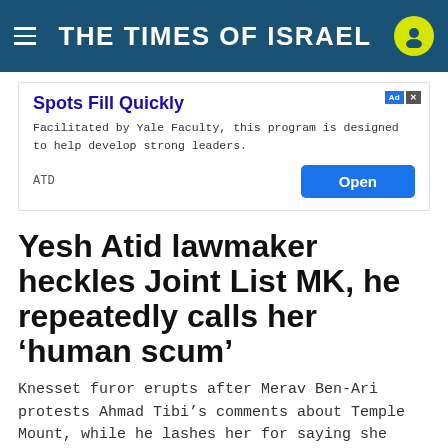THE TIMES OF ISRAEL
[Figure (screenshot): Advertisement banner: 'Spots Fill Quickly' - ATD program facilitated by Yale Faculty. Includes Open button.]
Yesh Atid lawmaker heckles Joint List MK, he repeatedly calls her ‘human scum’
Knesset furor erupts after Merav Ben-Ari protests Ahmad Tibi’s comments about Temple Mount, while he lashes her for saying she doesn’t regret death of Al Jazeera reporter
By TOI STAFF
18 May 20...
[Figure (screenshot): Overlay ad: ATD Intensive Leadership Training with OPEN button and close X button.]